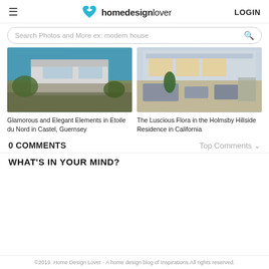homedesignlover LOGIN
Search Photos and More ex: modern house
[Figure (photo): Modern white house with stone terracing and vegetation]
[Figure (photo): Luxury hillside residence with outdoor seating area, pool, and warm evening lighting]
Glamorous and Elegant Elements in Etoile du Nord in Castel, Guernsey
The Luscious Flora in the Holmsby Hillside Residence in California
0 COMMENTS
Top Comments ∨
WHAT'S IN YOUR MIND?
©2019. Home Design Lover - A home design blog of Inspirations.All rights reserved.